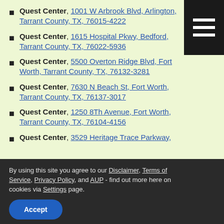Quest Center, 1001 W Arbrook Blvd, Arlington, Tarrant County, TX, 76015-4222
Quest Center, 1615 Hospital Pkwy, Bedford, Tarrant County, TX, 76022-5936
Quest Center, 5500 Overton Ridge Blvd, Fort Worth, Tarrant County, TX, 76132-3281
Quest Center, 7630 N Beach St, Fort Worth, Tarrant County, TX, 76137-3017
Quest Center, 1250 8Th Avenue, Fort Worth, Tarrant County, TX, 76104-4156
Quest Center, 3529 Heritage Trace Parkway,
By using this site you agree to our Disclaimer, Terms of Service, Privacy Policy, and AUP - find out more here on cookies via Settings page. [Accept]